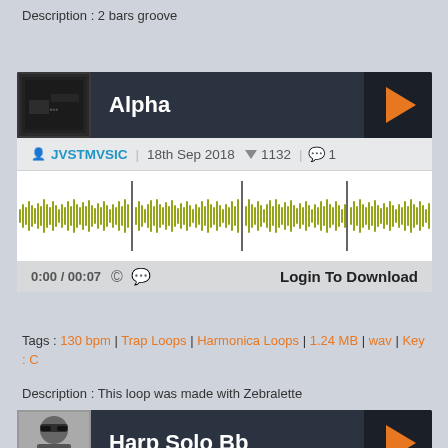Description : 2 bars groove
[Figure (screenshot): Alpha audio track card with waveform, metadata showing JVSTMVSIC, 18th Sep 2018, 1132 downloads, 1 comment, Login To Download button]
Tags : 130 bpm | Trap Loops | Harmonica Loops | 1.24 MB | wav | Key : C
Description : This loop was made with Zebralette
[Figure (screenshot): Harp Solo Bb audio track card with thumbnail of person with sunglasses, BaltesA, 26th Feb 2017, 741 downloads, 1 comment]